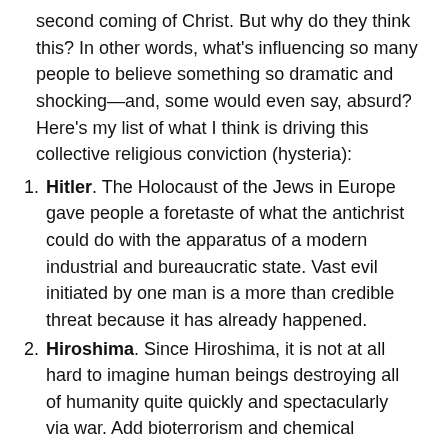second coming of Christ. But why do they think this? In other words, what's influencing so many people to believe something so dramatic and shocking—and, some would even say, absurd?  Here's my list of what I think is driving this collective religious conviction (hysteria):
Hitler. The Holocaust of the Jews in Europe gave people a foretaste of what the antichrist could do with the apparatus of a modern industrial and bureaucratic state. Vast evil initiated by one man is a more than credible threat because it has already happened.
Hiroshima. Since Hiroshima, it is not at all hard to imagine human beings destroying all of humanity quite quickly and spectacularly via war. Add bioterrorism and chemical warfare to the mix, and it's not difficult to understand why people are anxious about collective